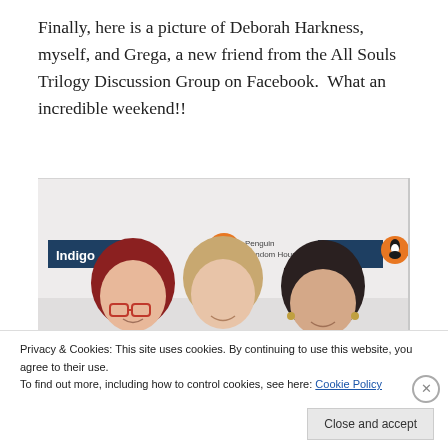Finally, here is a picture of Deborah Harkness, myself, and Grega, a new friend from the All Souls Trilogy Discussion Group on Facebook.  What an incredible weekend!!
[Figure (photo): Photo of three women smiling in front of an Indigo and Penguin Random House branded backdrop. The leftmost woman has red hair and glasses, the middle woman has blonde/light brown hair, and the rightmost woman has dark hair with bangs.]
Privacy & Cookies: This site uses cookies. By continuing to use this website, you agree to their use.
To find out more, including how to control cookies, see here: Cookie Policy